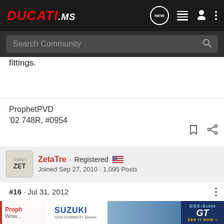DUCATI.ms — Search Community
fittings.
ProphetPVD
'02 748R, #0954
ZetaTre · Registered
Joined Sep 27, 2010 · 1,095 Posts
#16 · Jul 31, 2012
[Figure (screenshot): Suzuki GSX-S1000GT advertisement banner with motorcycle image and 'SEE IT NOW' call to action]